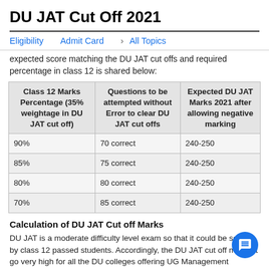DU JAT Cut Off 2021
Eligibility   Admit Card   >   All Topics
expected score matching the DU JAT cut offs and required percentage in class 12 is shared below:
| Class 12 Marks Percentage (35% weightage in DU JAT cut off) | Questions to be attempted without Error to clear DU JAT cut offs | Expected DU JAT Marks 2021 after allowing negative marking |
| --- | --- | --- |
| 90% | 70 correct | 240-250 |
| 85% | 75 correct | 240-250 |
| 80% | 80 correct | 240-250 |
| 70% | 85 correct | 240-250 |
Calculation of DU JAT Cut off Marks
DU JAT is a moderate difficulty level exam so that it could be solved by class 12 passed students. Accordingly, the DU JAT cut off may not go very high for all the DU colleges offering UG Management